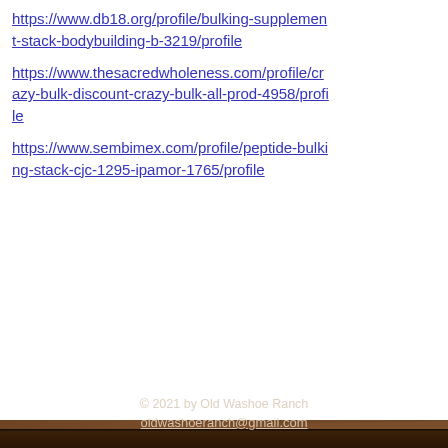https://www.db18.org/profile/bulking-supplement-stack-bodybuilding-b-3219/profile
https://www.thesacredwholeness.com/profile/crazy-bulk-discount-crazy-bulk-all-prod-4958/profile
https://www.sembimex.com/profile/peptide-bulking-stack-cjc-1295-ipamor-1765/profile
[Figure (photo): Wood plank texture background in dark brown tones with visible grain and knots]
© 2021 by Old Washoe Ranch oldwashoeranch@gmail.com